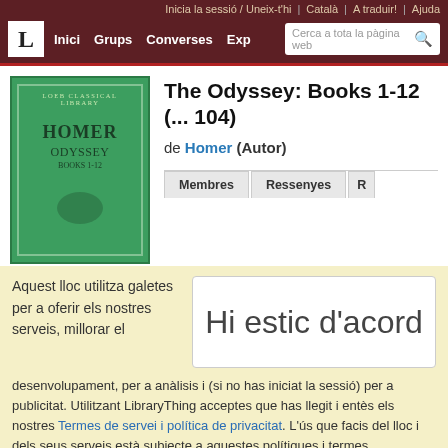Inicia la sessió / Uneix-t'hi | Català | A traduir! | Ajuda
L | Inici | Grups | Converses | Exp... | Cerca a tota la pàgina web
[Figure (illustration): Book cover of The Odyssey by Homer, Loeb Classical Library edition, green cover with ornamental border]
The Odyssey: Books 1-12 (... 104)
de Homer (Autor)
Membres | Ressenyes | R...
Aquest lloc utilitza galetes per a oferir els nostres serveis, millorar el
Hi estic d'acord
desenvolupament, per a anàlisis i (si no has iniciat la sessió) per a publicitat. Utilitzant LibraryThing acceptes que has llegit i entès els nostres Termes de servei i política de privacitat. L'ús que facis del lloc i dels seus serveis està subjecte a aquestes polítiques i termes.